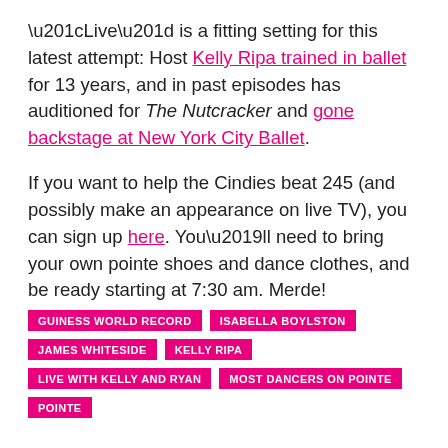“Live” is a fitting setting for this latest attempt: Host Kelly Ripa trained in ballet for 13 years, and in past episodes has auditioned for The Nutcracker and gone backstage at New York City Ballet.
If you want to help the Cindies beat 245 (and possibly make an appearance on live TV), you can sign up here. You’ll need to bring your own pointe shoes and dance clothes, and be ready starting at 7:30 am. Merde!
GUINESS WORLD RECORD
ISABELLA BOYLSTON
JAMES WHITESIDE
KELLY RIPA
LIVE WITH KELLY AND RYAN
MOST DANCERS ON POINTE
POINTE